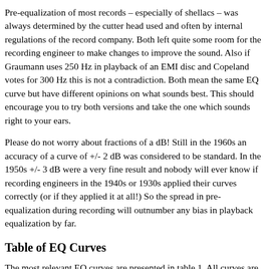Pre-equalization of most records – especially of shellacs – was always determined by the cutter head used and often by internal regulations of the record company. Both left quite some room for the recording engineer to make changes to improve the sound. Also if Graumann uses 250 Hz in playback of an EMI disc and Copeland votes for 300 Hz this is not a contradiction. Both mean the same EQ curve but have different opinions on what sounds best. This should encourage you to try both versions and take the one which sounds right to your ears.
Please do not worry about fractions of a dB! Still in the 1960s an accuracy of a curve of +/- 2 dB was considered to be standard. In the 1950s +/- 3 dB were a very fine result and nobody will ever know if recording engineers in the 1940s or 1930s applied their curves correctly (or if they applied it at all!) So the spread in pre-equalization during recording will outnumber any bias in playback equalization by far.
Table of EQ Curves
The most relevant EQ curves are presented in table 1. All curves are